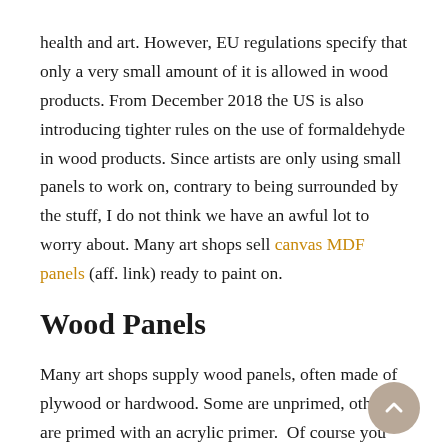health and art. However, EU regulations specify that only a very small amount of it is allowed in wood products. From December 2018 the US is also introducing tighter rules on the use of formaldehyde in wood products. Since artists are only using small panels to work on, contrary to being surrounded by the stuff, I do not think we have an awful lot to worry about. Many art shops sell canvas MDF panels (aff. link) ready to paint on.
Wood Panels
Many art shops supply wood panels, often made of plywood or hardwood. Some are unprimed, others are primed with an acrylic primer.  Of course you can make your own easily, but brands like Belle Arti and Ampersand sell wonderful boards with a high quality primer that makes them a pleasure to work on. The gesso boards by Belle